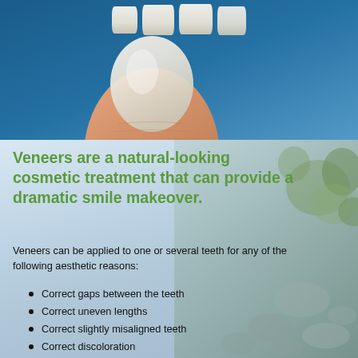[Figure (photo): Close-up photo of a finger holding dental veneers against a blue background, with multiple tooth-shaped veneers visible]
Veneers are a natural-looking cosmetic treatment that can provide a dramatic smile makeover.
Veneers can be applied to one or several teeth for any of the following aesthetic reasons:
Correct gaps between the teeth
Correct uneven lengths
Correct slightly misaligned teeth
Correct discoloration